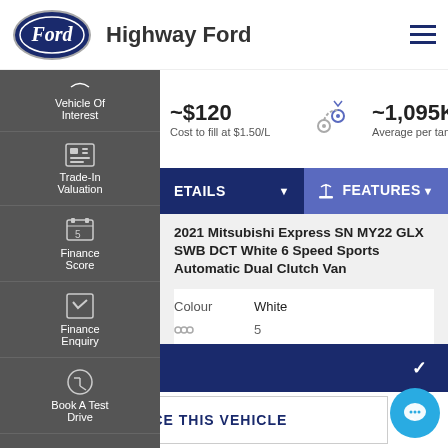[Figure (logo): Ford oval logo in blue and white]
Highway Ford
~$120
Cost to fill at $1.50/L
[Figure (illustration): Route/location icon]
~1,095KM
Average per tank
Vehicle Of Interest
[Figure (illustration): Trade-in icon]
Trade-In Valuation
[Figure (illustration): Finance Score icon]
Finance Score
[Figure (illustration): Finance Enquiry icon]
Finance Enquiry
[Figure (illustration): Book A Test Drive icon]
Book A Test Drive
ETAILS
FEATURES
2021 Mitsubishi Express SN MY22 GLX SWB DCT White 6 Speed Sports Automatic Dual Clutch Van
Colour	White
5
CONTACT US
FINANCE THIS VEHICLE